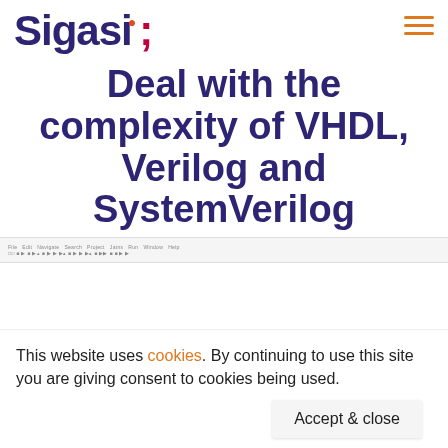[Figure (logo): Sigasi logo with orange dot above the semicolon, text in dark navy blue, hamburger menu icon in orange on the right]
Deal with the complexity of VHDL, Verilog and SystemVerilog
[Figure (screenshot): Partial screenshot of an IDE application toolbar/menu bar]
This website uses cookies. By continuing to use this site you are giving consent to cookies being used.
Accept & close